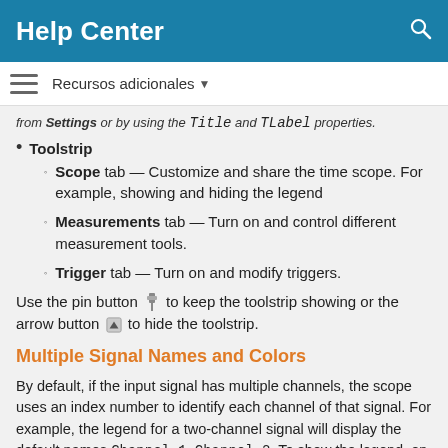Help Center
Recursos adicionales
from Settings or by using the Title and TLabel properties.
Toolstrip
Scope tab — Customize and share the time scope. For example, showing and hiding the legend
Measurements tab — Turn on and control different measurement tools.
Trigger tab — Turn on and modify triggers.
Use the pin button [pin] to keep the toolstrip showing or the arrow button [arrow] to hide the toolstrip.
Multiple Signal Names and Colors
By default, if the input signal has multiple channels, the scope uses an index number to identify each channel of that signal. For example, the legend for a two-channel signal will display the default names Channel 1, Channel 2. To show the legend, on the Scope tab, click Settings. Under Display and Labels, select Show Legend. If there are a total of seven input channels, the legend displayed is: